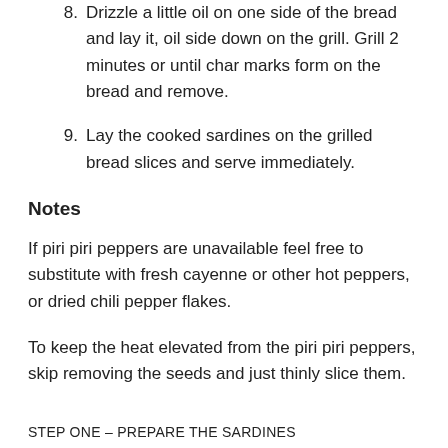8. Drizzle a little oil on one side of the bread and lay it, oil side down on the grill. Grill 2 minutes or until char marks form on the bread and remove.
9. Lay the cooked sardines on the grilled bread slices and serve immediately.
Notes
If piri piri peppers are unavailable feel free to substitute with fresh cayenne or other hot peppers, or dried chili pepper flakes.
To keep the heat elevated from the piri piri peppers, skip removing the seeds and just thinly slice them.
STEP ONE – PREPARE THE SARDINES